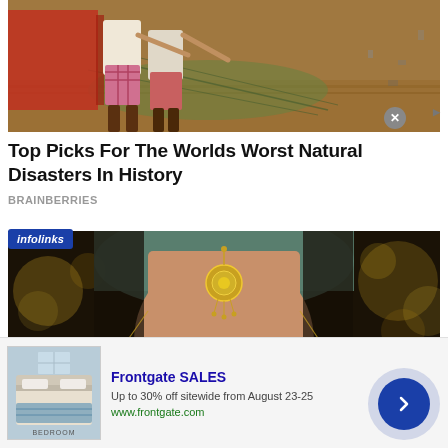[Figure (photo): People pulling fishing nets on a sandy beach]
Top Picks For The Worlds Worst Natural Disasters In History
BRAINBERRIES
[Figure (photo): Close-up portrait of a woman wearing traditional Indian jewelry including a maang tikka headpiece and dupatta]
[Figure (photo): Advertisement: Frontgate SALES - Up to 30% off sitewide from August 23-25, www.frontgate.com, with bedroom image thumbnail]